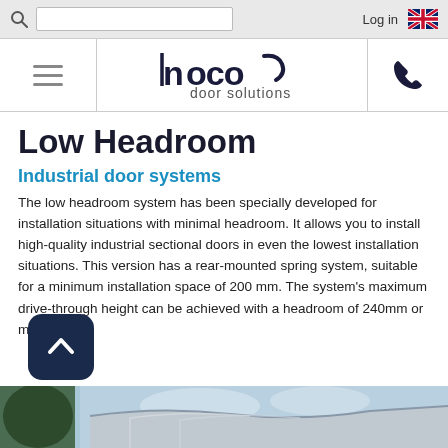Search bar with Log in and UK flag
[Figure (logo): DOCO door solutions logo with navigation bar including hamburger menu and phone icon]
Low Headroom
Industrial door systems
The low headroom system has been specially developed for installation situations with minimal headroom. It allows you to install high-quality industrial sectional doors in even the lowest installation situations. This version has a rear-mounted spring system, suitable for a minimum installation space of 200 mm. The system's maximum drive-through height can be achieved with a headroom of 240mm or more.
[Figure (photo): Partial photo of industrial building roof/door installation with trees visible, partially obscured by back-to-top button]